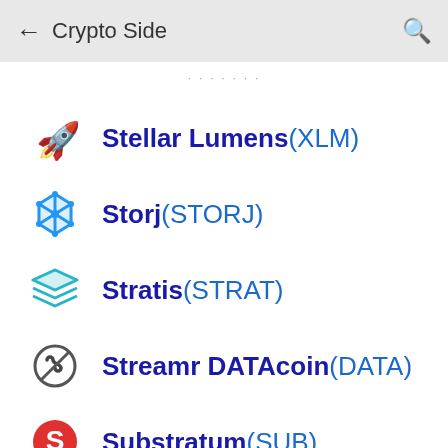← Crypto Side 🔍
Stellar Lumens (XLM)
Storj (STORJ)
Stratis (STRAT)
Streamr DATAcoin (DATA)
Substratum (SUB)